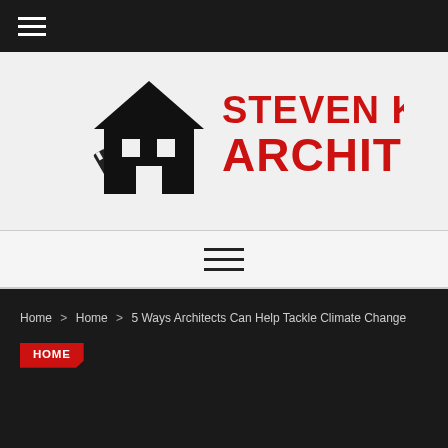≡ (hamburger menu icon)
[Figure (logo): Steven Kent Architect logo: house silhouette icon in black with a ruler, beside bold red text reading 'STEVEN KENT ARCHITECT']
≡ (navigation menu icon)
Home > Home > 5 Ways Architects Can Help Tackle Climate Change
HOME
5 Ways Architects Can Help Tackle Climate Change